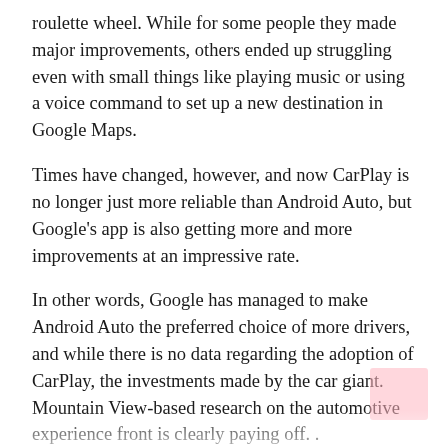roulette wheel. While for some people they made major improvements, others ended up struggling even with small things like playing music or using a voice command to set up a new destination in Google Maps.
Times have changed, however, and now CarPlay is no longer just more reliable than Android Auto, but Google's app is also getting more and more improvements at an impressive rate.
In other words, Google has managed to make Android Auto the preferred choice of more drivers, and while there is no data regarding the adoption of CarPlay, the investments made by the car giant. Mountain View-based research on the automotive experience front is clearly paying off. .
Google itself claims that there are over 100 million cars using Android Auto wirelessly, and the figures are only for vehicles with such capabilities from the factory. In reality, the actual numbers are much higher, as many upgrades to the aftermarket main unit also support wireless connectivity.